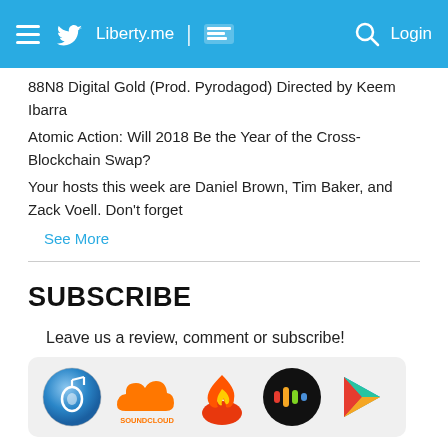Liberty.me | [icon] Login
88N8 Digital Gold (Prod. Pyrodagod) Directed by Keem Ibarra
Atomic Action: Will 2018 Be the Year of the Cross-Blockchain Swap?
Your hosts this week are Daniel Brown, Tim Baker, and Zack Voell. Don't forget
See More
SUBSCRIBE
Leave us a review, comment or subscribe!
[Figure (illustration): Row of platform icons: iTunes, SoundCloud, Podcast fire logo, Stitcher, Google Play]
MEET THE HOSTS